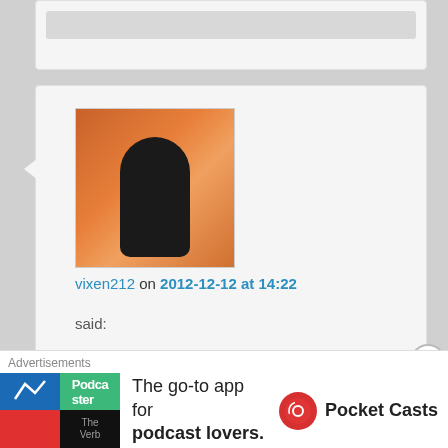[Figure (screenshot): Partial comment box at top of page, showing a gray bar]
[Figure (photo): User avatar for vixen212 showing a silhouette figure against an orange/warm background]
vixen212 on 2012-12-12 at 14:22
said:
Reblogged this on vixen212.
★ Like
Reply ↓
[Figure (photo): Nested comment avatar for merlinspielen showing a mountain lake landscape]
merlinspielen
on 2012-12-12 at
Advertisements
[Figure (screenshot): Pocket Casts advertisement banner: The go-to app for podcast lovers.]